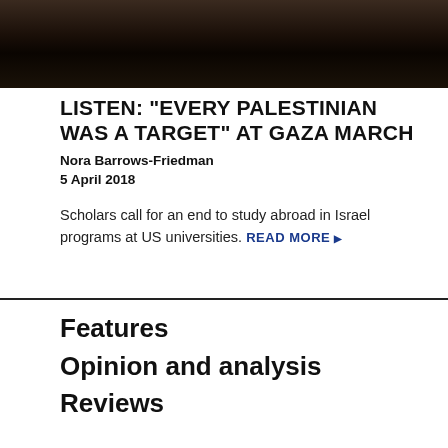[Figure (photo): Dark photograph showing people at a march, very dark/low exposure]
LISTEN: "EVERY PALESTINIAN WAS A TARGET" AT GAZA MARCH
Nora Barrows-Friedman
5 April 2018
Scholars call for an end to study abroad in Israel programs at US universities. READ MORE ▶
Features
Opinion and analysis
Reviews